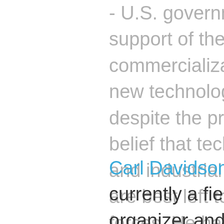- U.S. government support of the commercialization of new technologies, despite the prevailing belief that technological and industrial advances are best left to market forces. He has authored books and articles including âSwimming Against the Current: The Rise of a Hidden Developmental State in the United States" and "Rethinking Capitalism."
Carl Davidson is currently a field organizer and national co-chair for Committees of Correspondence for Democracy and Socialism. Together with Jerry Harris...